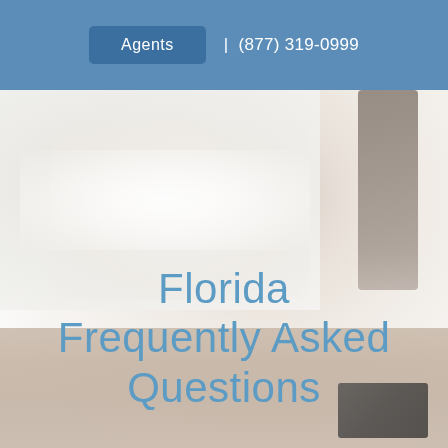Agents | (877) 319-0999
[Figure (photo): Blurred background photo of an interior room with soft light, a table surface visible in the foreground, and a dark vertical object at the right side.]
Florida Frequently Asked Questions